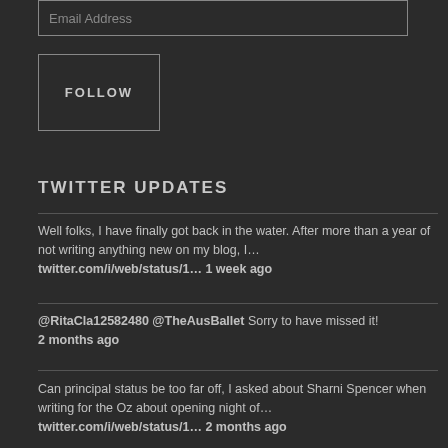Email Address
FOLLOW
TWITTER UPDATES
Well folks, I have finally got back in the water. After more than a year of not writing anything new on my blog, I… twitter.com/i/web/status/1… 1 week ago
@RitaCla12582480 @TheAusBallet Sorry to have missed it! 2 months ago
Can principal status be too far off, I asked about Sharni Spencer when writing for the Oz about opening night of… twitter.com/i/web/status/1… 2 months ago